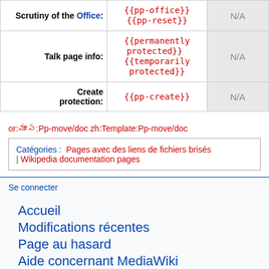| Label | Templates | Status |
| --- | --- | --- |
| Scrutiny of the Office: | {{pp-office}} {{pp-reset}} | N/A |
| Talk page info: | {{permanently protected}} {{temporarily protected}} | N/A |
| Create protection: | {{pp-create}} | N/A |
or:మూస:Pp-move/doc zh:Template:Pp-move/doc
Catégories : Pages avec des liens de fichiers brisés | Wikipedia documentation pages
Se connecter
Accueil
Modifications récentes
Page au hasard
Aide concernant MediaWiki